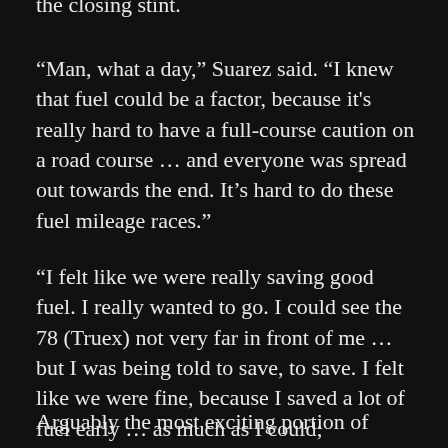the closing stint.
“Man, what a day,” Suarez said. “I knew that fuel could be a factor, because it's really hard to have a full-course caution on a road course … and everyone was spread out towards the end. It’s hard to do these fuel mileage races.”
“I felt like we were really saving good fuel. I really wanted to go. I could see the 78 (Truex) not very far in front of me … but I was being told to save, to save. I felt like we were fine, because I saved a lot of fuel early … as much as I could; downshifting early and all that. You never know, though. I’m happy with our finish.”
Arguably the most exciting portion of